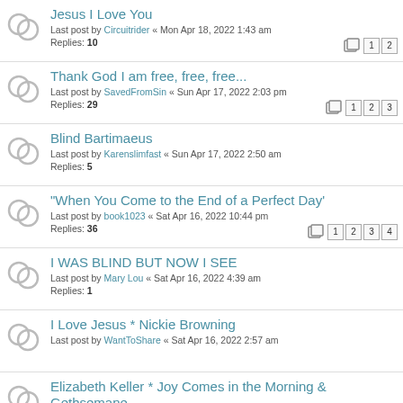Jesus I Love You
Last post by Circuitrider « Mon Apr 18, 2022 1:43 am
Replies: 10
Thank God I am free, free, free...
Last post by SavedFromSin « Sun Apr 17, 2022 2:03 pm
Replies: 29
Blind Bartimaeus
Last post by Karenslimfast « Sun Apr 17, 2022 2:50 am
Replies: 5
"When You Come to the End of a Perfect Day'
Last post by book1023 « Sat Apr 16, 2022 10:44 pm
Replies: 36
I WAS BLIND BUT NOW I SEE
Last post by Mary Lou « Sat Apr 16, 2022 4:39 am
Replies: 1
I Love Jesus * Nickie Browning
Last post by WantToShare « Sat Apr 16, 2022 2:57 am
Elizabeth Keller * Joy Comes in the Morning & Gethsemane
Last post by PraisingTheLord « Sat Apr 16, 2022 2:27 am
Replies: 9